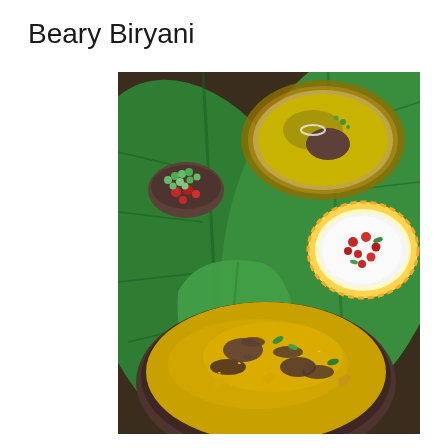Beary Biryani
[Figure (photo): Overhead view of Beary Biryani served on banana leaves, showing a large bowl of yellow saffron rice biryani garnished with cashews, mint leaves and fried onions in the foreground. In the background: a small bowl with green peppercorns and pomegranate seeds, a gold-rimmed plate of biryani with onion rings and cilantro, and a gold-rimmed white bowl of raita garnished with pomegranate seeds and herbs. All arranged on dark green banana leaves on a dark wooden surface.]